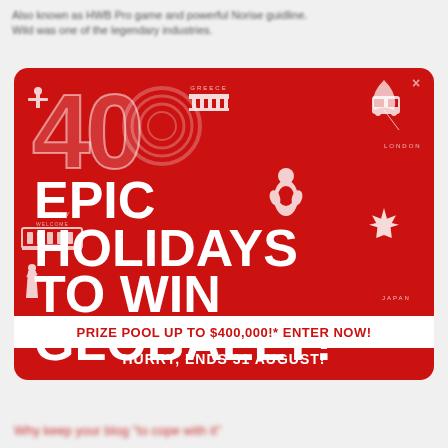Also known as HWB Pro game and powerful Norise guidline. Wild was one of the legendary industries.
[Figure (infographic): Red rectangular promotional banner for a sweepstakes. Large '40' graphic with concentric circle detail, text reading 'EPIC HOLIDAYS TO WIN GLOBALLY!', white landmark icons (Brazil Christ statue, Greek temple, Italian Colosseum, Statue of Liberty, penguin, Canadian maple leaf, London double-decker), location labels (GREECE, ITALY, LONDON, JAPAN), prize pool banner 'PRIZE POOL UP TO $400,000!* ENTER NOW!', and footer text 'HURRY, ENDS 31 AUGUST!']
Why keep your blog 'to cope with it'